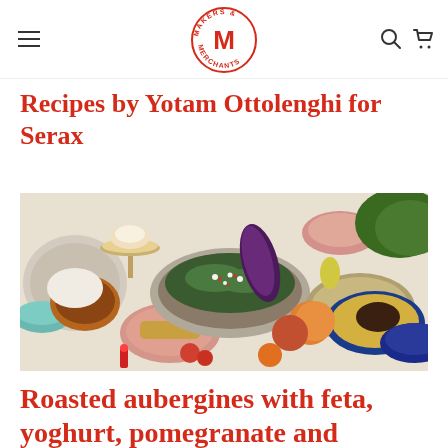Makers & Merchants (logo)
Recipes by Yotam Ottolenghi for Serax
[Figure (photo): Food spread photograph showing multiple colorful dishes on a table including roasted vegetables, salads, and fruits arranged on various decorative plates and bowls]
Roasted aubergines with feta, yoghurt, pomegranate and